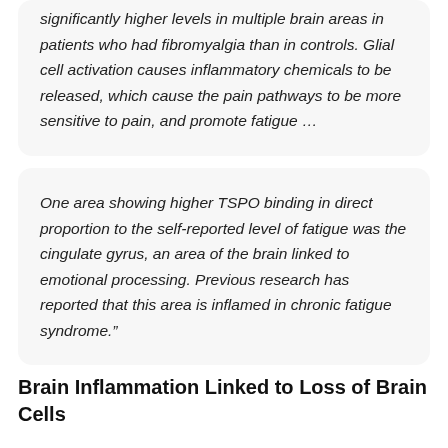significantly higher levels in multiple brain areas in patients who had fibromyalgia than in controls. Glial cell activation causes inflammatory chemicals to be released, which cause the pain pathways to be more sensitive to pain, and promote fatigue …
One area showing higher TSPO binding in direct proportion to the self-reported level of fatigue was the cingulate gyrus, an area of the brain linked to emotional processing. Previous research has reported that this area is inflamed in chronic fatigue syndrome."
Brain Inflammation Linked to Loss of Brain Cells